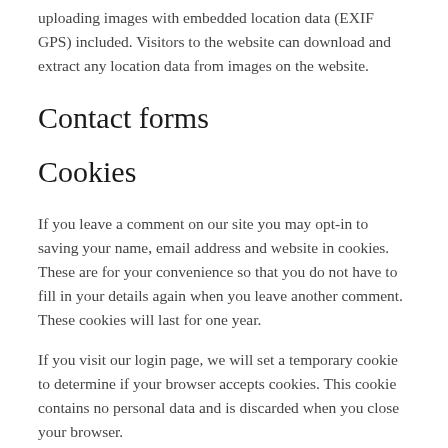uploading images with embedded location data (EXIF GPS) included. Visitors to the website can download and extract any location data from images on the website.
Contact forms
Cookies
If you leave a comment on our site you may opt-in to saving your name, email address and website in cookies. These are for your convenience so that you do not have to fill in your details again when you leave another comment. These cookies will last for one year.
If you visit our login page, we will set a temporary cookie to determine if your browser accepts cookies. This cookie contains no personal data and is discarded when you close your browser.